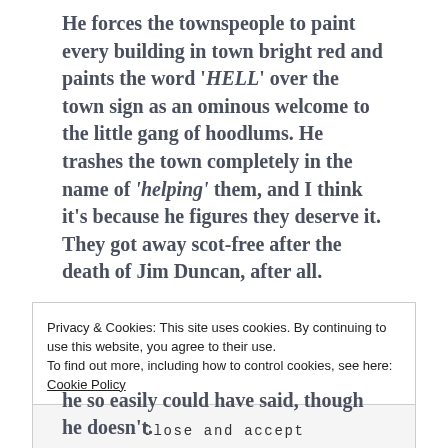He forces the townspeople to paint every building in town bright red and paints the word 'HELL' over the town sign as an ominous welcome to the little gang of hoodlums. He trashes the town completely in the name of 'helping' them, and I think it's because he figures they deserve it. They got away scot-free after the death of Jim Duncan, after all.
Anyway, the three lads eventually turn up and start shooting up the town but it's not too long before Clint, at his enigmatic best, dishes out
Privacy & Cookies: This site uses cookies. By continuing to use this website, you agree to their use. To find out more, including how to control cookies, see here: Cookie Policy
Close and accept
he so easily could have said, though he doesn't.